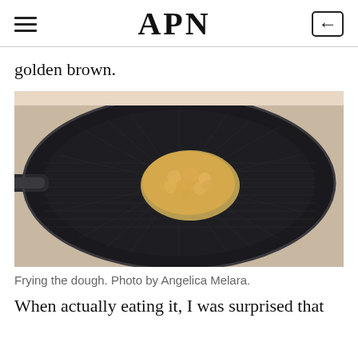APN
golden brown.
[Figure (photo): A frying pan with a piece of dough being fried on a dark non-stick surface with a mesh/grid texture pattern.]
Frying the dough. Photo by Angelica Melara.
When actually eating it, I was surprised that